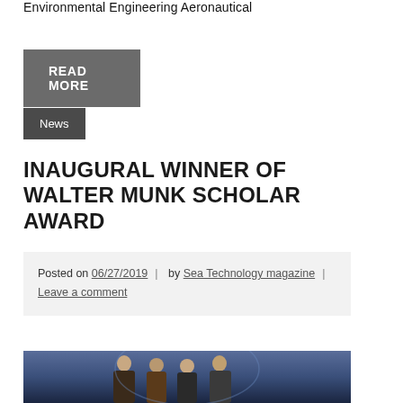Environmental Engineering Aeronautical
READ MORE
News
INAUGURAL WINNER OF WALTER MUNK SCHOLAR AWARD
Posted on 06/27/2019 | by Sea Technology magazine | Leave a comment
[Figure (photo): Group of four people standing together at an award ceremony, smiling, with a blue backdrop featuring a building or monument design]